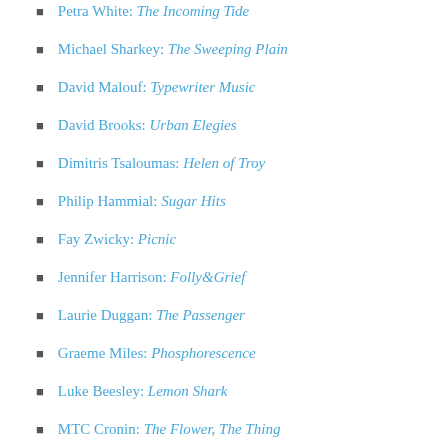Petra White: The Incoming Tide
Michael Sharkey: The Sweeping Plain
David Malouf: Typewriter Music
David Brooks: Urban Elegies
Dimitris Tsaloumas: Helen of Troy
Philip Hammial: Sugar Hits
Fay Zwicky: Picnic
Jennifer Harrison: Folly&Grief
Laurie Duggan: The Passenger
Graeme Miles: Phosphorescence
Luke Beesley: Lemon Shark
MTC Cronin: The Flower, The Thing
Les Murray: The Biplane Houses
Meeting Gisli